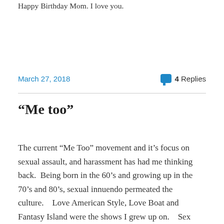Happy Birthday Mom. I love you.
March 27, 2018
4 Replies
“Me too”
The current “Me Too” movement and it’s focus on sexual assault, and harassment has had me thinking back.  Being born in the 60’s and growing up in the 70’s and 80’s, sexual innuendo permeated the culture.    Love American Style, Love Boat and Fantasy Island were the shows I grew up on.    Sex seemed to be everywhere and what is now understood to be harassment was in general,